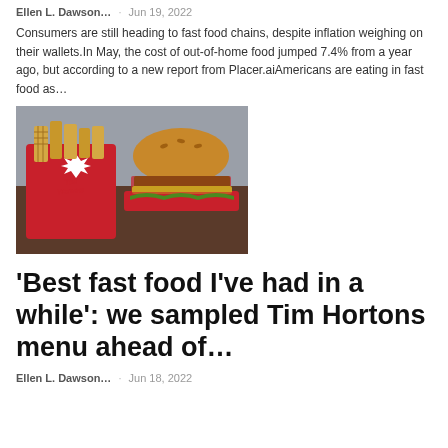Ellen L. Dawson...   Jun 19, 2022
Consumers are still heading to fast food chains, despite inflation weighing on their wallets.In May, the cost of out-of-home food jumped 7.4% from a year ago, but according to a new report from Placer.aiAmericans are eating in fast food as…
[Figure (photo): Tim Hortons red fry container with waffle fries and a burger in a red tray on a dark wooden surface]
‘Best fast food I’ve had in a while’: we sampled Tim Hortons menu ahead of…
Ellen L. Dawson...   Jun 18, 2022